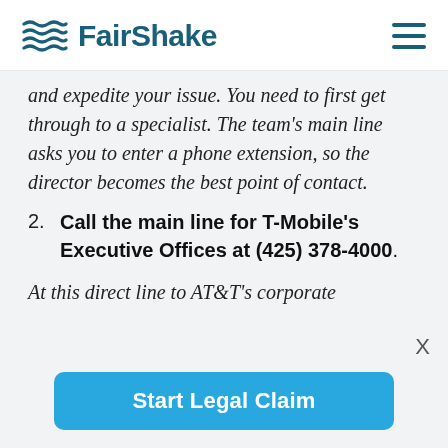FairShake
and expedite your issue. You need to first get through to a specialist. The team’s main line asks you to enter a phone extension, so the director becomes the best point of contact.
2. Call the main line for T-Mobile’s Executive Offices at (425) 378-4000.
At this direct line to AT&T’s corporate
X
Start Legal Claim